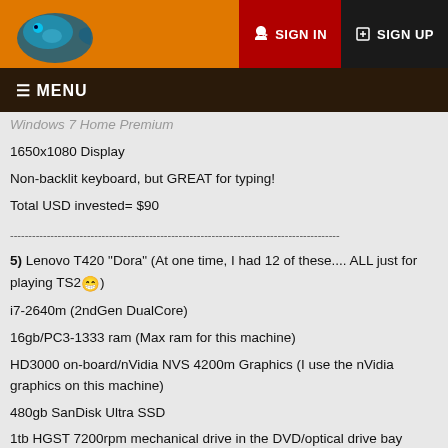SIGN IN  SIGN UP
☰ MENU
Windows 7 Home Premium
1650x1080 Display
Non-backlit keyboard, but GREAT for typing!
Total USD invested= $90
---
5) Lenovo T420 "Dora" (At one time, I had 12 of these.... ALL just for playing TS2😁)
i7-2640m (2ndGen DualCore)
16gb/PC3-1333 ram (Max ram for this machine)
HD3000 on-board/nVidia NVS 4200m Graphics (I use the nVidia graphics on this machine)
480gb SanDisk Ultra SSD
1tb HGST 7200rpm mechanical drive in the DVD/optical drive bay
Win7Pro
1600x900 Display
Non-backlit keyboard, but GREAT for typing!
Total USD invested= $100
I buy ALL parts, and ALL broken/barebones laptops from Ebay!